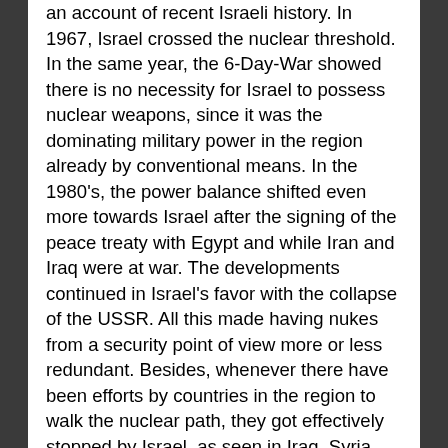an account of recent Israeli history. In 1967, Israel crossed the nuclear threshold. In the same year, the 6-Day-War showed there is no necessity for Israel to possess nuclear weapons, since it was the dominating military power in the region already by conventional means. In the 1980's, the power balance shifted even more towards Israel after the signing of the peace treaty with Egypt and while Iran and Iraq were at war. The developments continued in Israel's favor with the collapse of the USSR. All this made having nukes from a security point of view more or less redundant. Besides, whenever there have been efforts by countries in the region to walk the nuclear path, they got effectively stopped by Israel, as seen in Iraq, Syria and possibly now Iran. All in all, there is no conventional threat for Israel, and the unconventional threat has greatly diminished now that the Syrian chemical weapons are being destroyed. There is no existential military threat for Israel and none seems to be on the horizon. But the danger that other countries might keep on trying to get nuclear weapons is still out